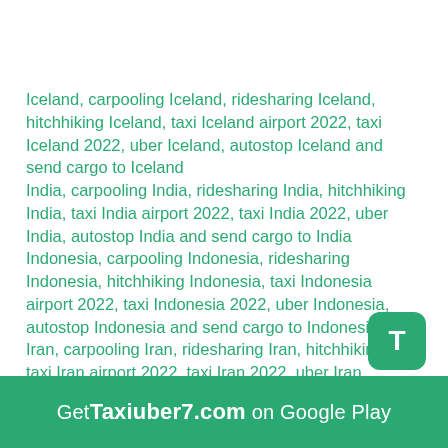Iceland, carpooling Iceland, ridesharing Iceland, hitchhiking Iceland, taxi Iceland airport 2022, taxi Iceland 2022, uber Iceland, autostop Iceland and send cargo to Iceland
India, carpooling India, ridesharing India, hitchhiking India, taxi India airport 2022, taxi India 2022, uber India, autostop India and send cargo to India
Indonesia, carpooling Indonesia, ridesharing Indonesia, hitchhiking Indonesia, taxi Indonesia airport 2022, taxi Indonesia 2022, uber Indonesia, autostop Indonesia and send cargo to Indonesia
Iran, carpooling Iran, ridesharing Iran, hitchhiking Iran, taxi Iran airport 2022, taxi Iran 2022, uber Iran, autostop Iran and send cargo to Iran
Iraq, carpooling Iraq, ridesharing Iraq, hitchhiking Iraq, taxi Iraq airport 2022, taxi Iraq 2022, uber Iraq, autostop Iraq and send cargo to Iraq
Ireland, carpooling Ireland, ridesharing Ireland, hitchhiking Ireland, taxi Ireland airport 2022, taxi Ireland 2022, uber Ireland, autostop Ireland and send cargo to Ireland
[Figure (other): Green rounded square button with letter T in white]
Get Taxiuber7.com on Google Play